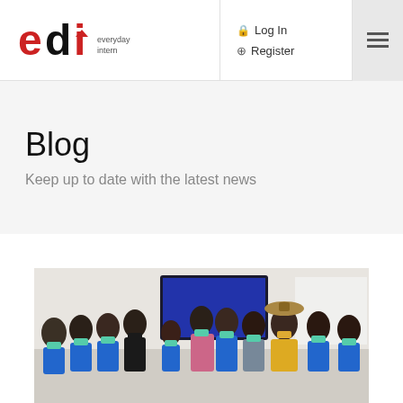[Figure (logo): EDI Everyday Intern logo - red and black stylized letters 'edi' with 'everyday intern' text]
Log In
Register
Blog
Keep up to date with the latest news
[Figure (photo): Group photo of approximately 14 people wearing blue EDI branded t-shirts and face masks, standing in an indoor setting with a screen/TV visible in the background. One person in the center wears a pink shirt and one person wears a yellow top with a hat.]